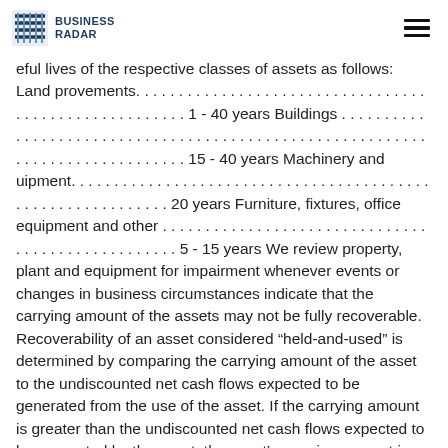BUSINESS RADAR
eful lives of the respective classes of assets as follows: Land provements. . . . . . . . . . . . . . . . . . . . . . . . . . . . . . . . . . . . . . . . . . . . . . . . . . . . . . 1 - 40 years Buildings . . . . . . . . . . . . . . . . . . . . . . . . . . . . . . . . . . . . . . . . . . . . . . . . . . . . . . . . . . . . . . . . . . . . . . . . . . . . . . 15 - 40 years Machinery and uipment. . . . . . . . . . . . . . . . . . . . . . . . . . . . . . . . . . . . . . . . . . . . . . . . . . . . . . . . . . . . 20 years Furniture, fixtures, office equipment and other . . . . . . . . . . . . . . . . . . . . . . . . . . . . . . . . . . . . . . . . . . . . . . . 5 - 15 years We review property, plant and equipment for impairment whenever events or changes in business circumstances indicate that the carrying amount of the assets may not be fully recoverable. Recoverability of an asset considered “held-and-used” is determined by comparing the carrying amount of the asset to the undiscounted net cash flows expected to be generated from the use of the asset. If the carrying amount is greater than the undiscounted net cash flows expected to be generated by the asset, the asset’s carrying amount is reduced to its estimated fair value. An asset considered “held-for-sale” is reported at the lower of the asset’s carrying amount or fair value. Goodwill and